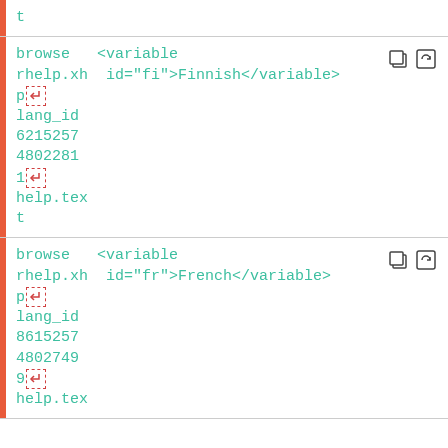t
browse   <variable
rhelp.xh  id="fi">Finnish</variable>
p[↵]
lang_id
6215257
4802281
1[↵]
help.tex
t
browse   <variable
rhelp.xh  id="fr">French</variable>
p[↵]
lang_id
8615257
4802749
9[↵]
help.tex